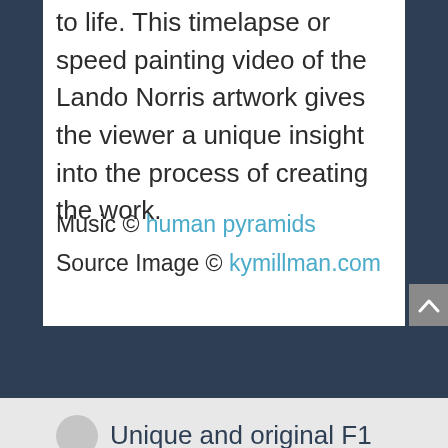to life. This timelapse or speed painting video of the Lando Norris artwork gives the viewer a unique insight into the process of creating the work.
Music © human pyramids
Source Image © kymillman.com
Unique and original F1